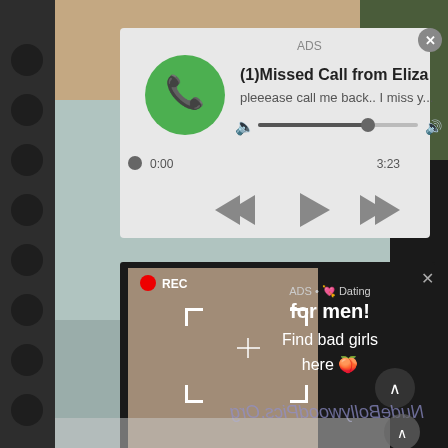[Figure (screenshot): Mobile phone screenshot showing two ad overlays. Top ad: a fake missed call notification from 'Eliza' with a green phone icon, audio player bar, and media controls. Bottom ad: a dark panel with a woman taking a selfie (camera viewfinder UI, REC indicator), and text 'ADS • Dating for men! Find bad girls here'. Background shows a woman and indoor setting. Bottom watermark text (mirrored): NudeBollywoodPics.Org]